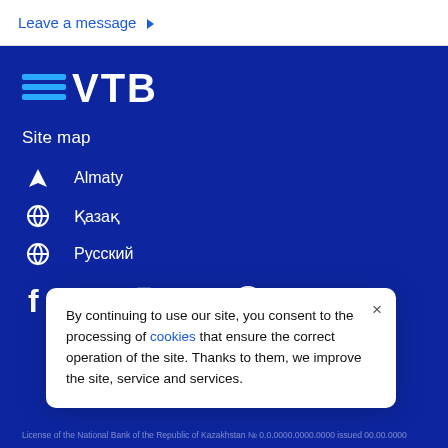Leave a message ▶
[Figure (logo): VTB bank logo with blue horizontal lines and bold white VTB text on dark blue background]
Site map
Almaty
Қазақ
Русский
[Figure (infographic): Social media icons row: Facebook, VK, Instagram, Telegram, WhatsApp]
By continuing to use our site, you consent to the processing of cookies that ensure the correct operation of the site. Thanks to them, we improve the site, service and services.